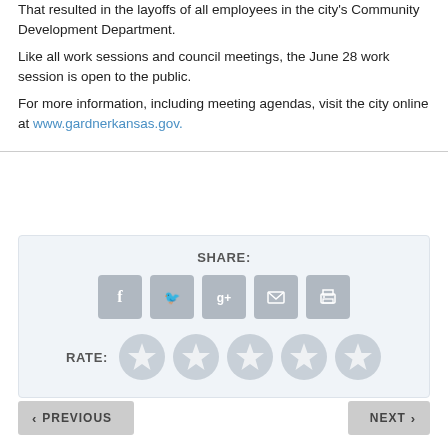That resulted in the layoffs of all employees in the city's Community Development Department.
Like all work sessions and council meetings, the June 28 work session is open to the public.
For more information, including meeting agendas, visit the city online at www.gardnerkansas.gov.
[Figure (infographic): Share and Rate section with social media icon buttons (Facebook, Twitter, Google+, Email, Print) and 5 star rating circles]
[Figure (infographic): Navigation bar with PREVIOUS and NEXT buttons]